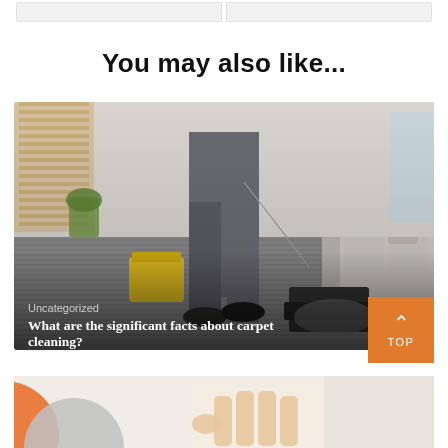[Figure (screenshot): Top navigation or card bar elements - two light gray rectangular placeholders side by side]
You may also like...
[Figure (photo): Carpet cleaning professional using a steam cleaning machine on a gray carpet in a living room. Person's lower body visible in gray work clothes, yellow bucket equipment on left, sofa in background. Overlay text shows category 'Uncategorized' and title 'What are the significant facts about carpet cleaning?']
[Figure (photo): Bottom preview of another article image - partial view showing a hand and colorful circular elements on a light background]